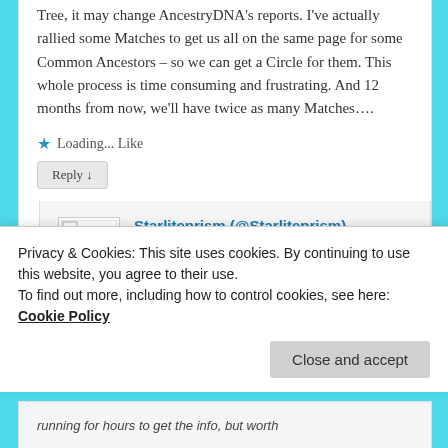Tree, it may change AncestryDNA's reports. I've actually rallied some Matches to get us all on the same page for some Common Ancestors – so we can get a Circle for them. This whole process is time consuming and frustrating. And 12 months from now, we'll have twice as many Matches….
★ Loading... Like
Reply ↓
Starliteprism (@Starliteprism) on September 25, 2015 at 12:06 pm said:
Privacy & Cookies: This site uses cookies. By continuing to use this website, you agree to their use.
To find out more, including how to control cookies, see here: Cookie Policy
Close and accept
running for hours to get the info, but worth